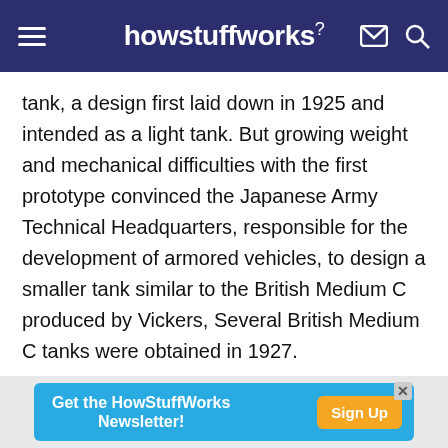howstuffworks
tank, a design first laid down in 1925 and intended as a light tank. But growing weight and mechanical difficulties with the first prototype convinced the Japanese Army Technical Headquarters, responsible for the development of armored vehicles, to design a smaller tank similar to the British Medium C produced by Vickers, Several British Medium C tanks were obtained in 1927.
The new tank used a Mitsubishi 105 horsepower gasoline engine to produce a road speed of only 15,5
[Figure (other): Advertisement banner: Get the HowStuffWorks Newsletter! Sign Up button]